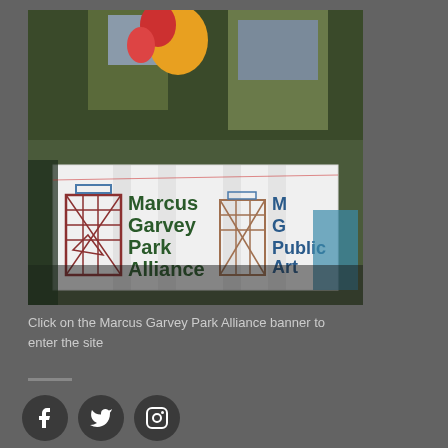[Figure (photo): Outdoor banner for Marcus Garvey Park Alliance and MG Public Art, with colorful balloons and trees in the background. The white banner shows architectural/gate drawings and text reading 'Marcus Garvey Park Alliance' and 'MG Public Art'.]
Click on the Marcus Garvey Park Alliance banner to enter the site
[Figure (infographic): Social media icons: Facebook, Twitter, Instagram displayed as white icons on dark circular buttons]